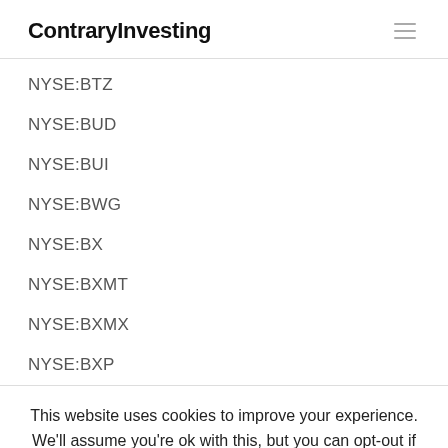ContraryInvesting
NYSE:BTZ
NYSE:BUD
NYSE:BUI
NYSE:BWG
NYSE:BX
NYSE:BXMT
NYSE:BXMX
NYSE:BXP
This website uses cookies to improve your experience. We'll assume you're ok with this, but you can opt-out if you wish. Cookie settings ACCEPT